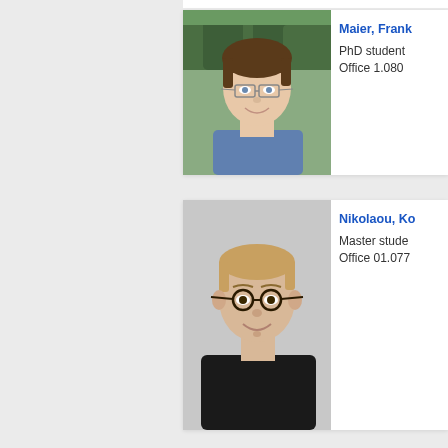[Figure (photo): Profile photo of Maier, Frank — a young man with glasses and brown hair, wearing a blue shirt, outdoors with trees in background]
Maier, Frank
PhD student
Office 1.080
[Figure (photo): Profile photo of Nikolaou, Ko... — a young man with short hair and round glasses, wearing a black shirt, against a light grey background]
Nikolaou, Ko...
Master stude...
Office 01.077...